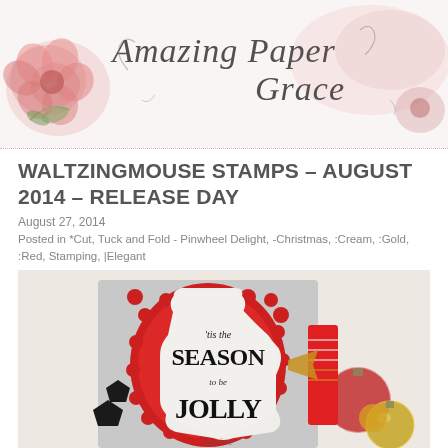Amazing Paper Grace
WALTZINGMOUSE STAMPS – AUGUST 2014 – RELEASE DAY
August 27, 2014
Posted in *Cut, Tuck and Fold - Pinwheel Delight, -Christmas, :Cream, :Gold, :Red, Stamping, |Elegant
[Figure (photo): A handmade Christmas card featuring 'tis the season to be jolly stamped text on a white oval label mounted on a red decorative die-cut frame, with Christmas decorations including red and gold ornaments in the background.]